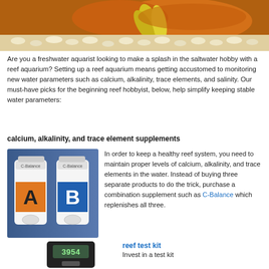[Figure (photo): Close-up photo of an orange fish (clownfish or similar) with yellow feathery fins resting on white pebbles/sand substrate in a reef aquarium.]
Are you a freshwater aquarist looking to make a splash in the saltwater hobby with a reef aquarium? Setting up a reef aquarium means getting accustomed to monitoring new water parameters such as calcium, alkalinity, trace elements, and salinity. Our must-have picks for the beginning reef hobbyist, below, help simplify keeping stable water parameters:
calcium, alkalinity, and trace element supplements
[Figure (photo): Two white bottles of C-Balance supplement labeled A and B, with orange and blue labels respectively, against a blue background.]
In order to keep a healthy reef system, you need to maintain proper levels of calcium, alkalinity, and trace elements in the water. Instead of buying three separate products to do the trick, purchase a combination supplement such as C-Balance which replenishes all three.
reef test kit
[Figure (photo): A digital refractometer or salinity meter device showing reading 3954 on its display screen.]
Invest in a test kit